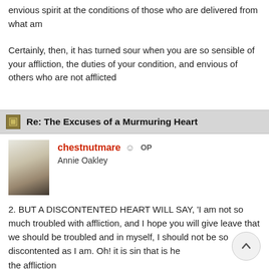envious spirit at the conditions of those who are delivered from what am
Certainly, then, it has turned sour when you are so sensible of your affliction, the duties of your condition, and envious of others who are not afflicted
Re: The Excuses of a Murmuring Heart
chestnutmare  OP
Annie Oakley
2. BUT A DISCONTENTED HEART WILL SAY, 'I am not so much troubled with affliction, and I hope you will give leave that we should be troubled and in myself, I should not be so discontented as I am. Oh! it is sin that is he the affliction